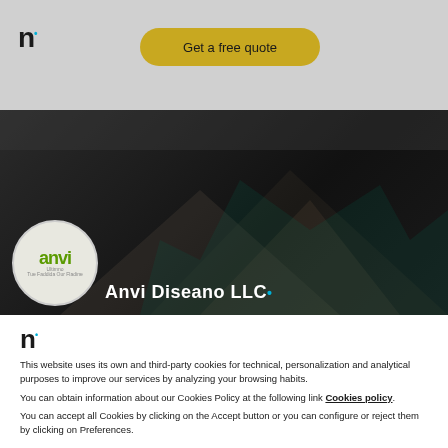Get a free quote
[Figure (photo): Dark banner with faint mountain/landscape silhouette in background]
[Figure (logo): Anvi Diseano LLC logo circle — green 'anvi' text with tagline, followed by company name in white]
[Figure (logo): Nextly 'n' logo with blue dot]
This website uses its own and third-party cookies for technical, personalization and analytical purposes to improve our services by analyzing your browsing habits.
You can obtain information about our Cookies Policy at the following link Cookies policy.
You can accept all Cookies by clicking on the Accept button or you can configure or reject them by clicking on Preferences.